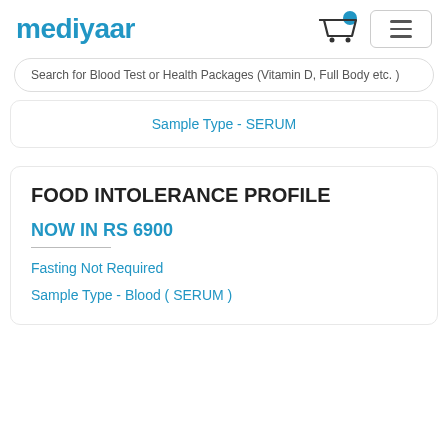mediyaar
Search for Blood Test or Health Packages (Vitamin D, Full Body etc. )
Sample Type - SERUM
FOOD INTOLERANCE PROFILE
NOW IN RS 6900
Fasting Not Required
Sample Type - Blood ( SERUM )